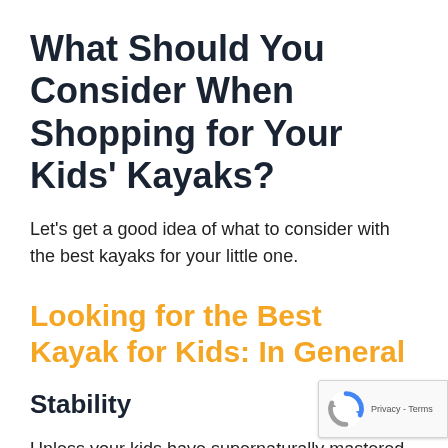What Should You Consider When Shopping for Your Kids' Kayaks?
Let's get a good idea of what to consider with the best kayaks for your little one.
Looking for the Best Kayak for Kids: In General
Stability
Unless your kids have supernaturally mastered kayaking since infancy, this is the most vital fac choosing a kayak for kids.